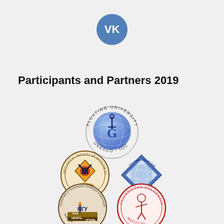[Figure (logo): VK (VKontakte) social network logo - blue circle with white VK letters]
Participants and Partners 2019
[Figure (logo): Floating University UNESCO-IOC logo - globe with anchor and letter G]
[Figure (logo): Geological Faculty of Moscow State University logo - circular badge with geological symbols]
[Figure (logo): Oceanological Institute SB RAS logo - blue diamond shape with globe]
[Figure (logo): Kafedra Geologii i Geokhimii Goryuchikh Iskopaemykh MIN logo - circular badge with oil/gas/coal imagery]
[Figure (logo): Universitas Osloensis logo - circular red badge with figure MDCCCXI]